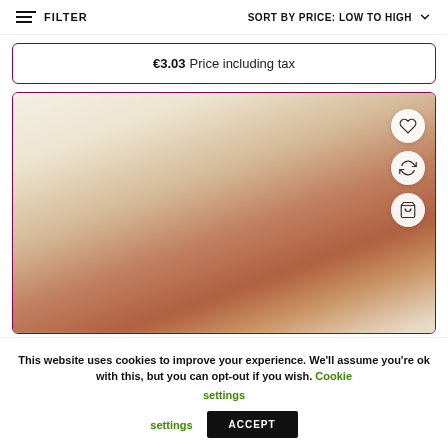FILTER   SORT BY PRICE: LOW TO HIGH
€3.03  Price including tax
[Figure (photo): Blurred product image of a food item in a container, shown in a product listing card with heart, refresh, and bag action icons]
This website uses cookies to improve your experience. We'll assume you're ok with this, but you can opt-out if you wish. Cookie settings  ACCEPT